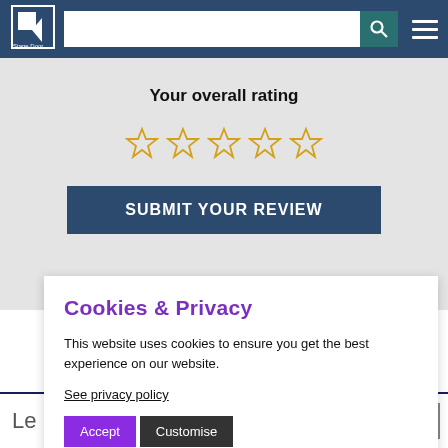[Figure (screenshot): Stage Door website header with logo, search bar, and hamburger menu on dark blue background]
Your overall rating
[Figure (other): Five empty star rating icons in gold/yellow outline]
SUBMIT YOUR REVIEW
Cookies & Privacy
This website uses cookies to ensure you get the best experience on our website.
See privacy policy
Accept  Customise
Le